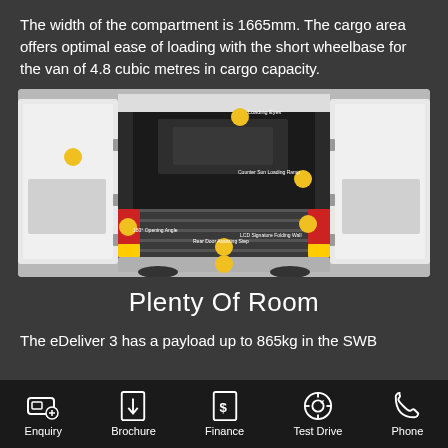The width of the compartment is 1665mm. The cargo area offers optimal ease of loading with the short wheelbase for the van of 4.8 cubic metres in cargo capacity.
[Figure (photo): Rear view of a white cargo van (eDeliver 3) with both rear doors fully opened, showing the cargo compartment interior with multiple yellow hotspot markers indicating features such as Loading Eyes, Counter Sun Loading Ramp, LCD Signature Folding Wall, 180° Opening Angle, and Rear Door Assisting Step.]
Plenty Of Room
The eDeliver 3 has a payload up to 865kg in the SWB
Enquiry  Brochure  Finance  Test Drive  Phone